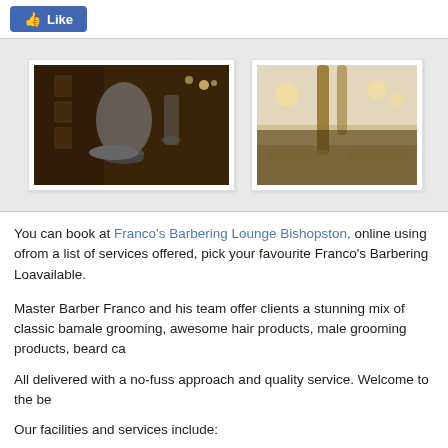[Figure (screenshot): Facebook Like button (blue, with thumbs up icon and 'Like' text)]
[Figure (photo): Two photos of Franco's Barbering Lounge interior showing barber chairs and shop decor]
You can book at Franco's Barbering Lounge Bishopston, online using o... from a list of services offered, pick your favourite Franco's Barbering Lo... available.
Master Barber Franco and his team offer clients a stunning mix of classic ba... male grooming, awesome hair products, male grooming products, beard ca...
All delivered with a no-fuss approach and quality service. Welcome to the be...
Our facilities and services include:
Expertly trained barbers and mens hairdressers
Italian coffee on demand
Free WIFI for all clients
Comfortable waiting area